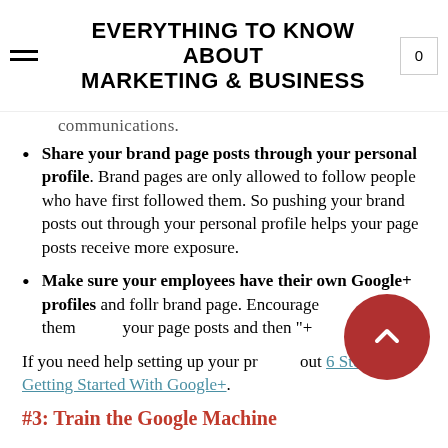EVERYTHING TO KNOW ABOUT MARKETING & BUSINESS
communications.
Share your brand page posts through your personal profile. Brand pages are only allowed to follow people who have first followed them. So pushing your brand posts out through your personal profile helps your page posts receive more exposure.
Make sure your employees have their own Google+ profiles and follow your brand page. Encourage them to share your page posts and then "+1" them.
If you need help setting up your profile, check out 6 Steps to Getting Started With Google+.
#3: Train the Google Machine